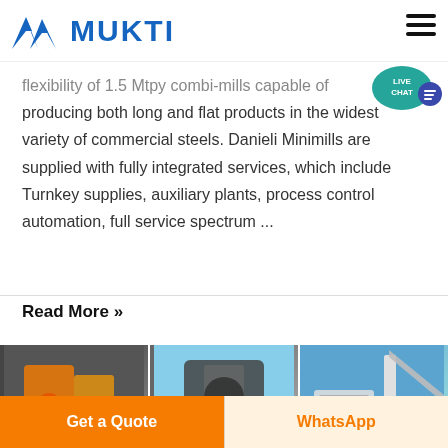MUKTI
flexibility of 1.5 Mtpy combi-mills capable of producing both long and flat products in the widest variety of commercial steels. Danieli Minimills are supplied with fully integrated services, which include Turnkey supplies, auxiliary plants, process control automation, full service spectrum ...
Read More »
[Figure (photo): Three industrial machinery photos side by side: left shows orange and yellow industrial equipment indoors, center shows heavy machinery outdoors, right shows crane equipment against blue sky]
Get a Quote
WhatsApp